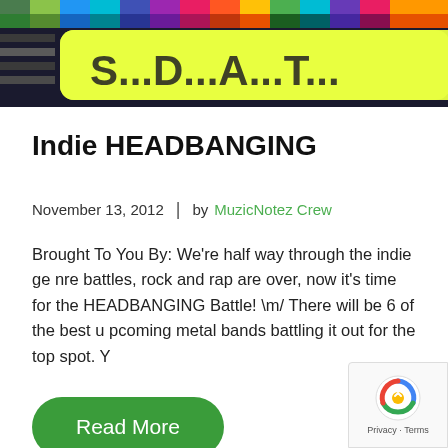[Figure (screenshot): Colorful banner image with dark multicolored pixel/block pattern background and a yellow-green rounded rectangle overlay with partial text visible]
Indie HEADBANGING
November 13, 2012  |  by MuzicNotez Crew
Brought To You By: We're half way through the indie genre battles, rock and rap are over, now it's time for the HEADBANGING Battle! \m/ There will be 6 of the best upcoming metal bands battling it out for the top spot. Y
Read More